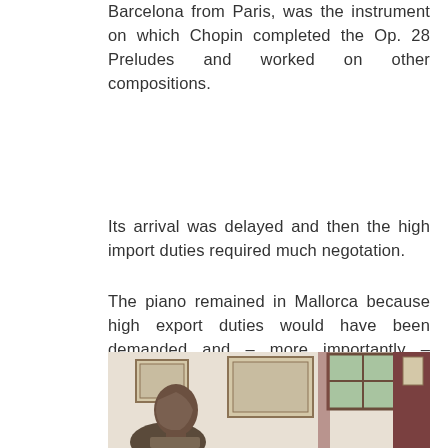Barcelona from Paris, was the instrument on which Chopin completed the Op. 28 Preludes and worked on other compositions.
Its arrival was delayed and then the high import duties required much negotation.
The piano remained in Mallorca because high export duties would have been demanded and – more importantly – Chopin's consumption made it an object which no-one wished to handle.
[Figure (photo): Interior room showing a bronze bust sculpture on a pedestal in the foreground, with framed pictures/documents on a white wall and a window with dark curtains in the background.]